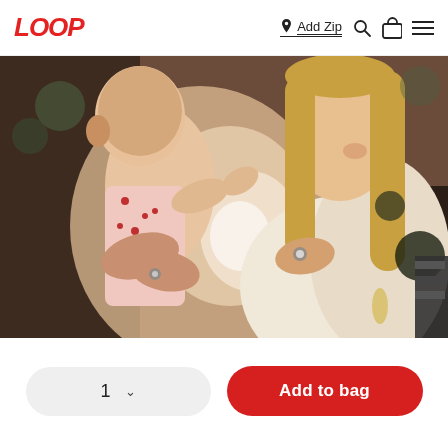LOOP — Add Zip navigation header with search, bag, and menu icons
[Figure (photo): A smiling woman with long blonde hair holding and laughing with a baby in a floral outfit. Warm indoor lighting with a soft bokeh background.]
1  ∨  Add to bag